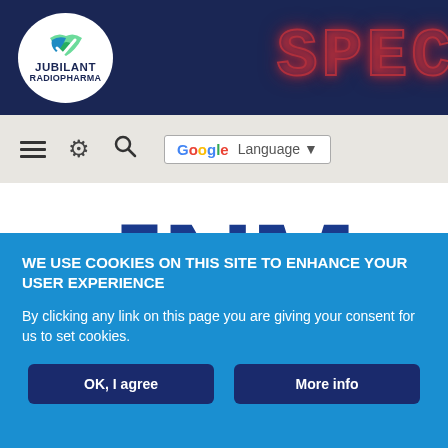[Figure (logo): Jubilant Radiopharma logo in white circle on dark blue banner, with SPECT text in red neon style on right side]
[Figure (screenshot): Navigation bar with hamburger menu, gear icon, search icon, and Google Language selector button]
JNM
The Journal of Nuclear Medicine
WE USE COOKIES ON THIS SITE TO ENHANCE YOUR USER EXPERIENCE
By clicking any link on this page you are giving your consent for us to set cookies.
OK, I agree
More info